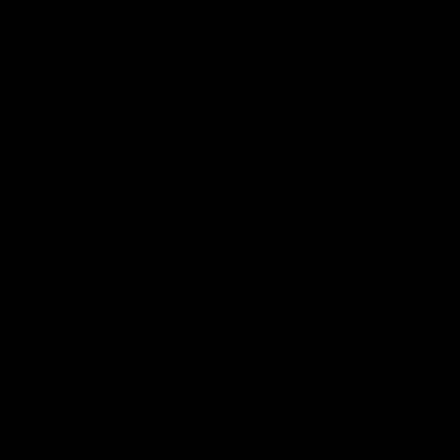being pushed around ... around because stress ... human race shares wi... pressure for money ar...
I see this stress every... mostly I do. I see it on... nowhere. I let them go... thing or another. I see... without legitimate purp... urgency and every oth... lives.
I see people angry ab... see people on crusade... them making themselv... and a... about imagined injurie...